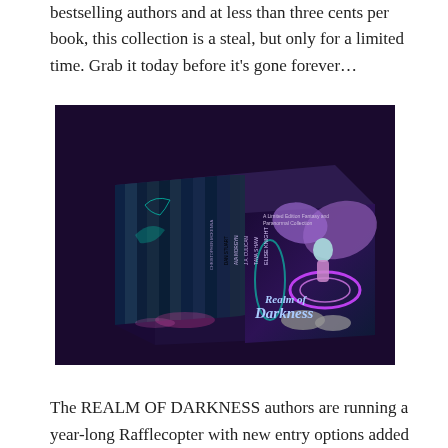bestselling authors and at less than three cents per book, this collection is a steal, but only for a limited time. Grab it today before it's gone forever…
[Figure (photo): A 3D book box set titled 'Realm of Darkness' — a limited edition fantasy and paranormal collection. The spine shows multiple author names including Elise Knight, Tava Shaw, J.A. Culican, Ava Morgyn, Dan Stuart, Christopher McKenna, and others. The cover art features a blue-haired woman with a large winged dragon, wolves, and glowing purple magical elements.]
The REALM OF DARKNESS authors are running a year-long Rafflecopter with new entry options added